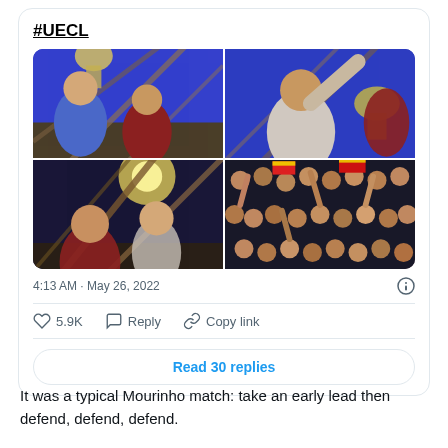#UECL
[Figure (photo): Four-photo grid showing football celebration: top-left players holding trophy on scaffold against blue sky, top-right player waving with trophy against blue sky, bottom-left nighttime scaffold scene with players, bottom-right large crowd of fans with flags celebrating]
4:13 AM · May 26, 2022
5.9K   Reply   Copy link
Read 30 replies
It was a typical Mourinho match: take an early lead then defend, defend, defend.